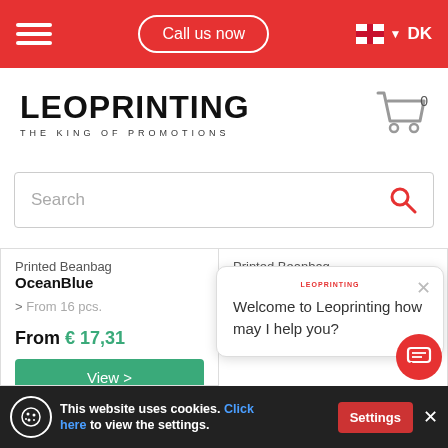Call us now | DK
[Figure (logo): LEOPRINTING THE KING OF PROMOTIONS logo with shopping cart icon showing 0 items]
[Figure (screenshot): Search input box with placeholder text 'Search' and red magnifying glass icon]
Printed Beanbag OceanBlue
> From 16 pcs.
From € 17,31
View >
Printed Beanbag Black
> From 16 pcs.
[Figure (screenshot): Chat popup from Leoprinting saying 'Welcome to Leoprinting how may I help you?' with close button]
About Seatzac®
This website uses cookies. Click here to view the settings. Settings ×